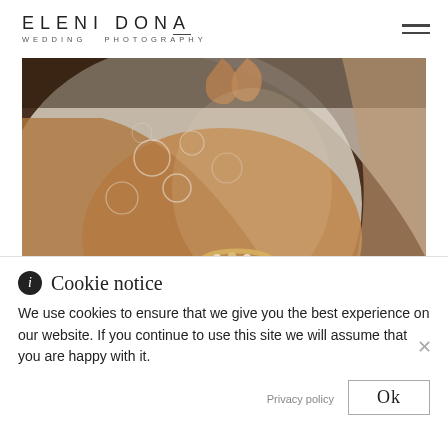ELENI DONA WEDDING PHOTOGRAPHY
[Figure (photo): Close-up wedding photography: a hand with gold/pearl bracelet adjusting the back of a white lace wedding dress]
Cookie notice
We use cookies to ensure that we give you the best experience on our website. If you continue to use this site we will assume that you are happy with it.
Privacy policy
Ok